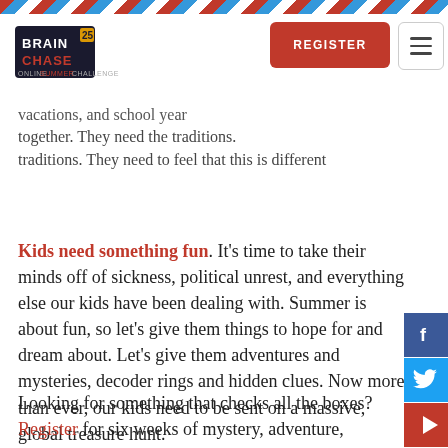Brain Chase Online Summer Challenge - Navigation with REGISTER button
vacations, and school year together. They need the traditions. They need to feel that this is different
Kids need something fun. It's time to take their minds off of sickness, political unrest, and everything else our kids have been dealing with. Summer is about fun, so let's give them things to hope for and dream about. Let's give them adventures and mysteries, decoder rings and hidden clues. Now more than ever, our kids need to be sent on a massive, global treasure hunt.
Looking for something that checks all the boxes? Register for six weeks of mystery, adventure,